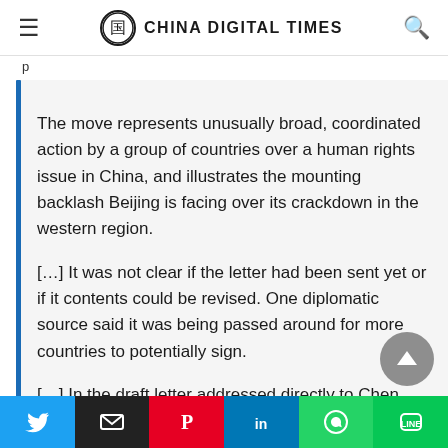CHINA DIGITAL TIMES
p
The move represents unusually broad, coordinated action by a group of countries over a human rights issue in China, and illustrates the mounting backlash Beijing is facing over its crackdown in the western region.
[…] It was not clear if the letter had been sent yet or if it contents could be revised. One diplomatic source said it was being passed around for more countries to potentially sign.
[…] In the draft letter addressed directly to Chen, who outranks the region's ethnic Uighur governor
Twitter | Email | Pinterest | LinkedIn | WhatsApp | LINE